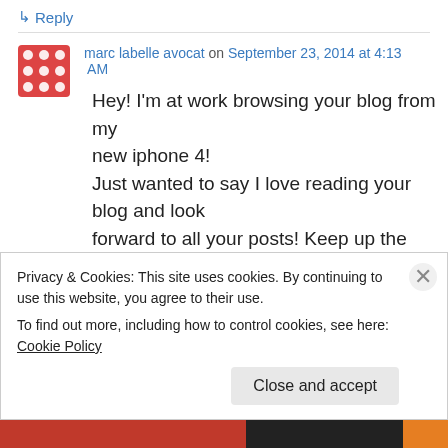↳ Reply
marc labelle avocat on September 23, 2014 at 4:13 AM
Hey! I'm at work browsing your blog from my new iphone 4! Just wanted to say I love reading your blog and look forward to all your posts! Keep up the superb work!
Privacy & Cookies: This site uses cookies. By continuing to use this website, you agree to their use. To find out more, including how to control cookies, see here: Cookie Policy
Close and accept